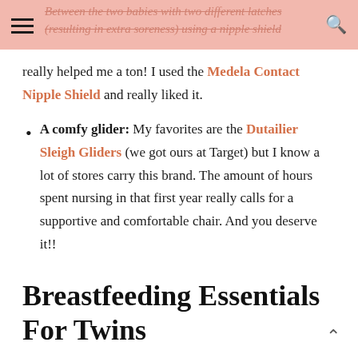Between the two babies with two different latches (resulting in extra soreness) using a nipple shield
really helped me a ton! I used the Medela Contact Nipple Shield and really liked it.
A comfy glider: My favorites are the Dutailier Sleigh Gliders (we got ours at Target) but I know a lot of stores carry this brand. The amount of hours spent nursing in that first year really calls for a supportive and comfortable chair. And you deserve it!!
Breastfeeding Essentials For Twins
I think I covered most of the basics above but one of the breastfeeding essentials for twins that has really helped